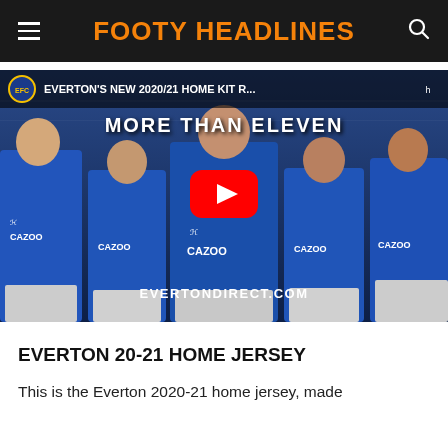FOOTY HEADLINES
[Figure (screenshot): YouTube video thumbnail showing Everton 2020/21 Home Kit reveal video. Five players in blue Everton Cazoo jerseys stand in a row. Text reads: EVERTON'S NEW 2020/21 HOME KIT R... and MORE THAN ELEVEN and EVERTONDIRECT.COM. A red YouTube play button is centered on the image.]
EVERTON 20-21 HOME JERSEY
This is the Everton 2020-21 home jersey, made